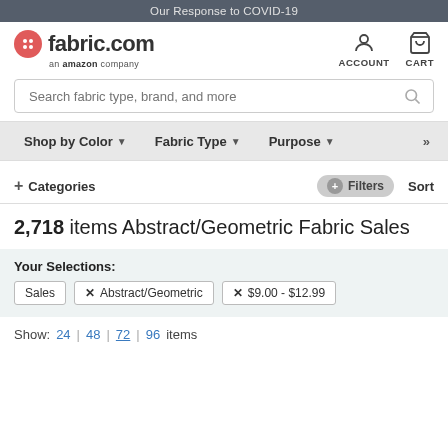Our Response to COVID-19
[Figure (logo): fabric.com logo with red button circle icon, 'an amazon company' tagline, plus ACCOUNT and CART icons]
Search fabric type, brand, and more
Shop by Color ▼   Fabric Type ▼   Purpose ▼   »
+ Categories   ⊕ Filters   Sort
2,718 items Abstract/Geometric Fabric Sales
Your Selections:
Sales   ✕ Abstract/Geometric   ✕ $9.00 - $12.99
Show: 24 | 48 | 72 | 96 items